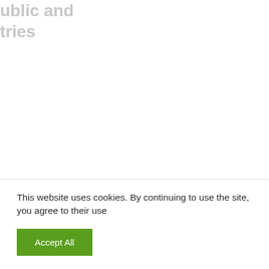ublic and
tries
This website uses cookies. By continuing to use the site, you agree to their use
Accept All